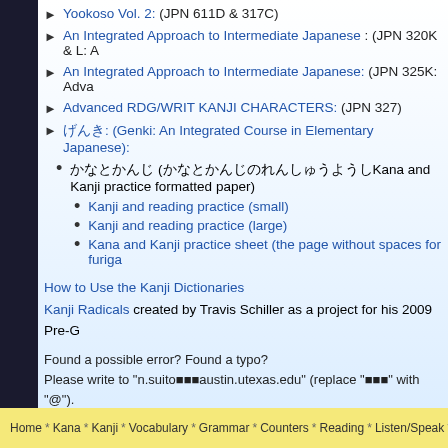Yookoso Vol. 2: (JPN 611D & 317C)
An Integrated Approach to Intermediate Japanese : (JPN 320K & L: A
An Integrated Approach to Intermediate Japanese: (JPN 325K: Adva
Advanced RDG/WRIT KANJI CHARACTERS: (JPN 327)
げんき: (Genki: An Integrated Course in Elementary Japanese):
かなとかんじ (かなとかんじのれんしゅうようしKana and Kanji practice formatted paper)
Kanji and reading practice (small)
Kanji and reading practice (large)
Kana and Kanji practice sheet (the page without spaces for furiga
How to Use the Kanji Dictionaries
Kanji Radicals created by Travis Schiller as a project for his 2009 Pre-G
Found a possible error? Found a typo?
Please write to "n.suito■■■austin.utexas.edu" (replace "■■■" with "@").
Please include the URL, quiz name, and question #.
If you are a UT student and doing the quiz for your class assignment, ple problem as soon as possible.
Go to Top
Home * Kana * Kanji * Vocabulary * Grammar * Counters * Reading * Listen/Speak * C